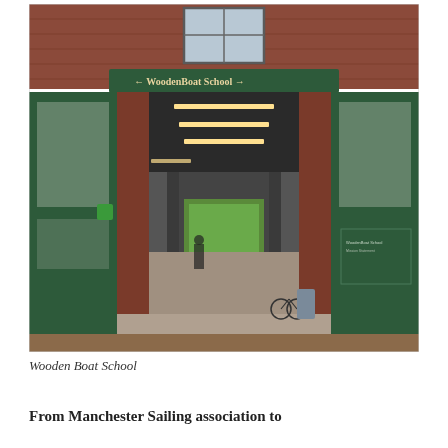[Figure (photo): Photograph of the entrance to WoodenBoat School. A large brick building with dark green doors open wide, revealing a long interior corridor lit with fluorescent lights. A green sign reading 'WoodenBoat School' with arrows on each side hangs above the entrance. Trees are visible through the far end of the building.]
Wooden Boat School
From Manchester Sailing association to